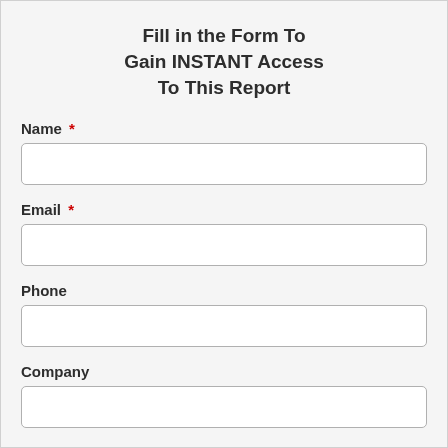Fill in the Form To Gain INSTANT Access To This Report
Name *
Email *
Phone
Company